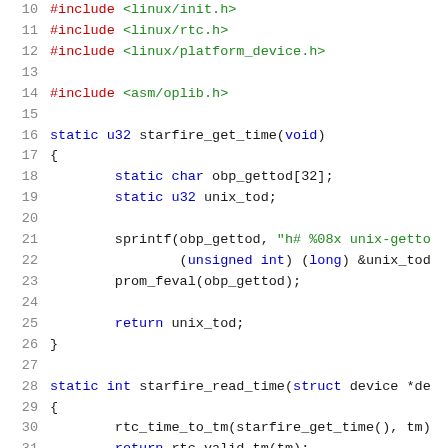Code listing lines 10-31, C source file with Linux kernel RTC driver code
10  #include <linux/init.h>
11  #include <linux/rtc.h>
12  #include <linux/platform_device.h>
13  (blank)
14  #include <asm/oplib.h>
15  (blank)
16  static u32 starfire_get_time(void)
17  {
18          static char obp_gettod[32];
19          static u32 unix_tod;
20  (blank)
21          sprintf(obp_gettod, "h# %08x unix-gettod"
22                  (unsigned int) (long) &unix_tod
23          prom_feval(obp_gettod);
24  (blank)
25          return unix_tod;
26  }
27  (blank)
28  static int starfire_read_time(struct device *dev
29  {
30          rtc_time_to_tm(starfire_get_time(), tm)
31          return rtc_valid_tm(tm);